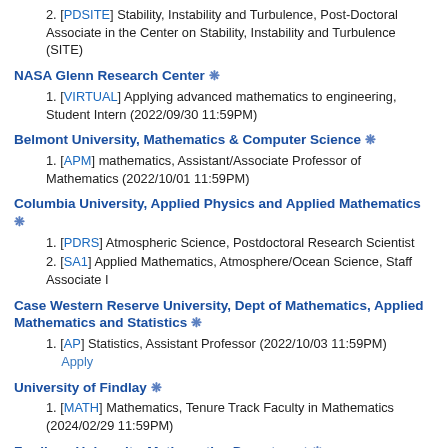2. [PDSITE] Stability, Instability and Turbulence, Post-Doctoral Associate in the Center on Stability, Instability and Turbulence (SITE)
NASA Glenn Research Center ✦
1. [VIRTUAL] Applying advanced mathematics to engineering, Student Intern (2022/09/30 11:59PM)
Belmont University, Mathematics & Computer Science ✦
1. [APM] mathematics, Assistant/Associate Professor of Mathematics (2022/10/01 11:59PM)
Columbia University, Applied Physics and Applied Mathematics ✦
1. [PDRS] Atmospheric Science, Postdoctoral Research Scientist
2. [SA1] Applied Mathematics, Atmosphere/Ocean Science, Staff Associate I
Case Western Reserve University, Dept of Mathematics, Applied Mathematics and Statistics ✦
1. [AP] Statistics, Assistant Professor (2022/10/03 11:59PM)   Apply
University of Findlay ✦
1. [MATH] Mathematics, Tenure Track Faculty in Mathematics (2024/02/29 11:59PM)
Fordham University, Mathematics Department ✦